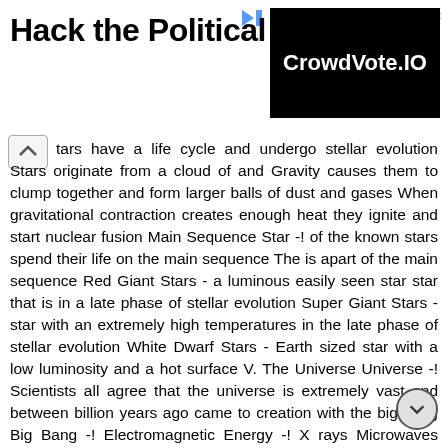[Figure (other): Advertisement banner with text 'Hack the Political System.' on the left and 'CrowdVote.IO' logo on black background on the right, with arrow and close icons at top right]
tars have a life cycle and undergo stellar evolution Stars originate from a cloud of and Gravity causes them to clump together and form larger balls of dust and gases When gravitational contraction creates enough heat they ignite and start nuclear fusion Main Sequence Star -! of the known stars spend their life on the main sequence The is apart of the main sequence Red Giant Stars - a luminous easily seen star star that is in a late phase of stellar evolution Super Giant Stars - star with an extremely high temperatures in the late phase of stellar evolution White Dwarf Stars - Earth sized star with a low luminosity and a hot surface V. The Universe Universe -! Scientists all agree that the universe is extremely vast and between billion years ago came to creation with the big bang Big Bang -! Electromagnetic Energy -! X rays Microwaves Gamma rays Ultraviolet Infrared Radio waves Decreasing wavelength Visible light Violet Blue Green Yellow Orange Red Increasing wavelength (Not drawn to scale) Leigh-Manuell - 11 "